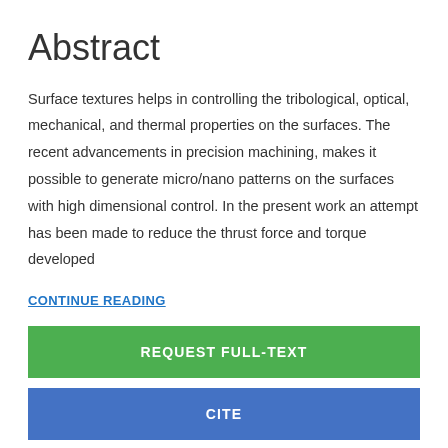Abstract
Surface textures helps in controlling the tribological, optical, mechanical, and thermal properties on the surfaces. The recent advancements in precision machining, makes it possible to generate micro/nano patterns on the surfaces with high dimensional control. In the present work an attempt has been made to reduce the thrust force and torque developed
CONTINUE READING
REQUEST FULL-TEXT
CITE